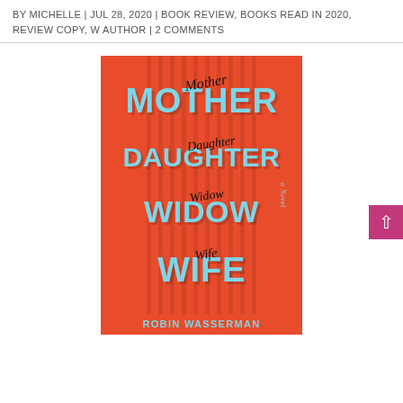BY MICHELLE | JUL 28, 2020 | BOOK REVIEW, BOOKS READ IN 2020, REVIEW COPY, W AUTHOR | 2 COMMENTS
[Figure (illustration): Book cover of 'Mother Daughter Widow Wife' by Robin Wasserman. Orange/red background with vertical stripe texture. Large bold cyan/light-blue uppercase text reads MOTHER, DAUGHTER, WIDOW, WIFE stacked vertically. Overlaid on each bold word is a handwritten italic cursive version of the same word in black. Small text 'a Novel' rotated vertically on the right side. Author name partially visible at bottom.]